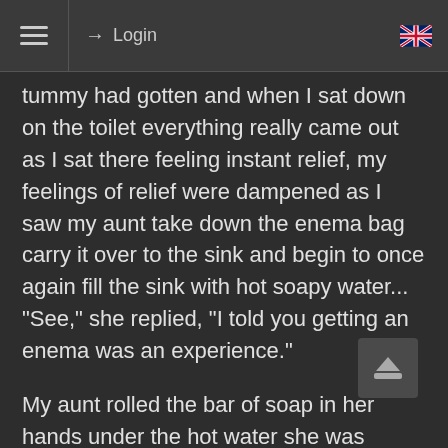≡  Login  🇬🇧
tummy had gotten and when I sat down on the toilet everything really came out as I sat there feeling instant relief, my feelings of relief were dampened as I saw my aunt take down the enema bag carry it over to the sink and begin to once again fill the sink with hot soapy water... "See," she replied, "I told you getting an enema was an experience."

My aunt rolled the bar of soap in her hands under the hot water she was running in the sink to prepare my second enema. She then picked up the enema bag and pitcher